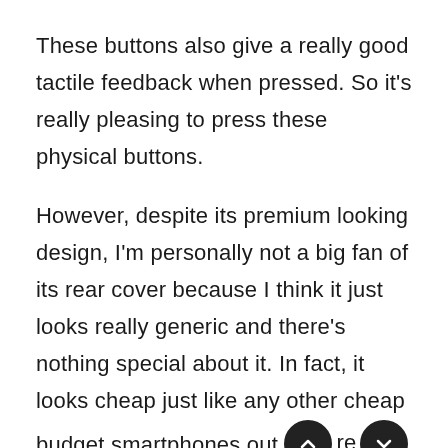These buttons also give a really good tactile feedback when pressed. So it's really pleasing to press these physical buttons.
However, despite its premium looking design, I'm personally not a big fan of its rear cover because I think it just looks really generic and there's nothing special about it. In fact, it looks cheap just like any other cheap budget smartphones out there on the market.